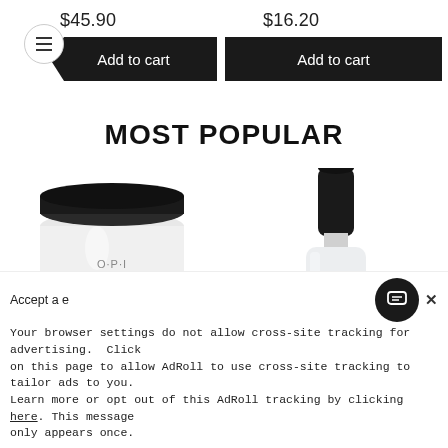$45.90
$16.20
Add to cart
Add to cart
MOST POPULAR
[Figure (photo): White acrylic powder jar with black lid (O-PI brand) - nail product]
[Figure (photo): CND nail polish bottle with black cap and white/glitter polish]
Accept a e ×
Your browser settings do not allow cross-site tracking for advertising. Click on this page to allow AdRoll to use cross-site tracking to tailor ads to you. Learn more or opt out of this AdRoll tracking by clicking here. This message only appears once.